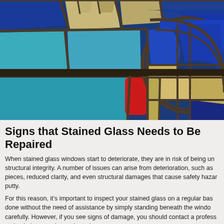[Figure (photo): Close-up photograph of a stained glass window with blue, teal, gold, red, and cream colored glass pieces separated by dark lead came (caming). The composition shows large rectangular blue and teal panes on the left and a circular arch pattern on the right with deep cobalt blue glass segments.]
Signs that Stained Glass Needs to Be Repaired
When stained glass windows start to deteriorate, they are in risk of being un structural integrity. A number of issues can arise from deterioration, such as pieces, reduced clarity, and even structural damages that cause safety hazar putty.
For this reason, it's important to inspect your stained glass on a regular bas done without the need of assistance by simply standing beneath the windo carefully. However, if you see signs of damage, you should contact a profess stained glass can be evaluated.